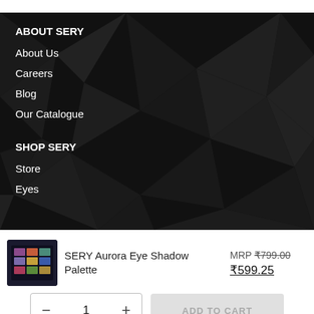ABOUT SERY
About Us
Careers
Blog
Our Catalogue
SHOP SERY
Store
Eyes
[Figure (screenshot): Product card for SERY Aurora Eye Shadow Palette showing MRP ₹799.00 struck through, sale price ₹599.25 underlined, product thumbnail, quantity selector showing 1 with minus and plus buttons, and an ADD TO CART button]
SERY Aurora Eye Shadow Palette
MRP ₹799.00 ₹599.25
− 1 + ADD TO CART